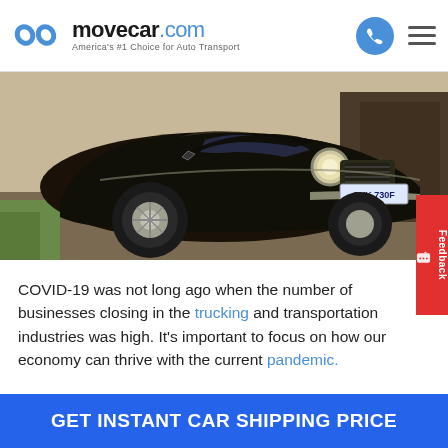movecar.com — America's #1 Choice for Auto Transport
[Figure (photo): Classic black vintage car (Volvo P1800 style) with license plate SYK 730F, parked on a driveway]
COVID-19 was not long ago when the number of businesses closing in the trucking and transportation industries was high. It's important to focus on how our economy can thrive with the current pandemic.
GET INSTANT CAR SHIPPING PRICE